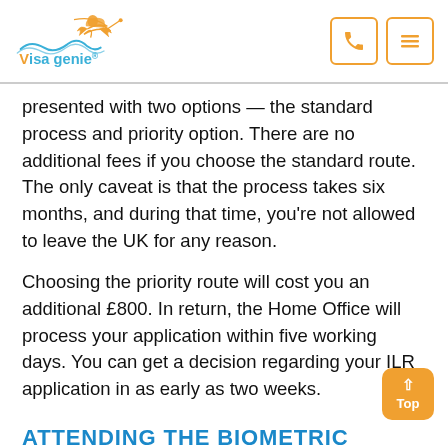Visa genie®
presented with two options — the standard process and priority option. There are no additional fees if you choose the standard route. The only caveat is that the process takes six months, and during that time, you're not allowed to leave the UK for any reason.
Choosing the priority route will cost you an additional £800. In return, the Home Office will process your application within five working days. You can get a decision regarding your ILR application in as early as two weeks.
ATTENDING THE BIOMETRIC APPOINTMENT